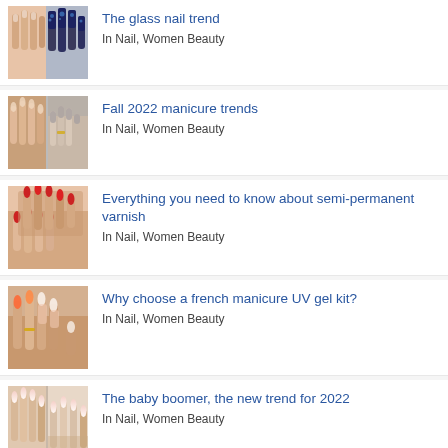The glass nail trend
In Nail, Women Beauty
Fall 2022 manicure trends
In Nail, Women Beauty
Everything you need to know about semi-permanent varnish
In Nail, Women Beauty
Why choose a french manicure UV gel kit?
In Nail, Women Beauty
The baby boomer, the new trend for 2022
In Nail, Women Beauty